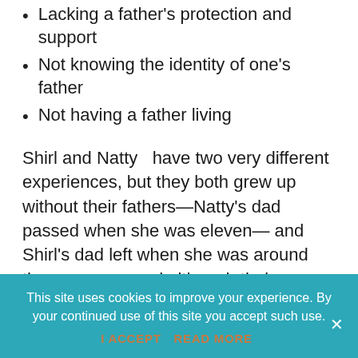Lacking a father's protection and support
Not knowing the identity of one's father
Not having a father living
Shirl and Natty  have two very different experiences, but they both grew up without their fathers—Natty's dad passed when she was eleven— and Shirl's dad left when she was around the same age and although their experiences weren't the same, they both experienced emotional trauma as a result of being fatherless black girls. Tune in to this week's episode to find out they navigated the pain from there
This site uses cookies to improve your experience. By your continued use of this site you accept such use. I ACCEPT  READ MORE